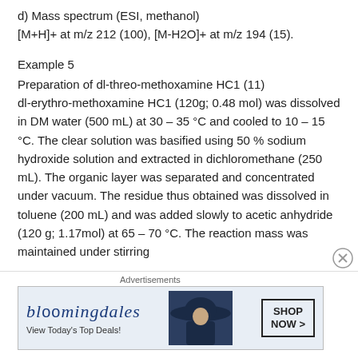d) Mass spectrum (ESI, methanol)
[M+H]+ at m/z 212 (100), [M-H2O]+ at m/z 194 (15).
Example 5
Preparation of dl-threo-methoxamine HC1 (11) dl-erythro-methoxamine HC1 (120g; 0.48 mol) was dissolved in DM water (500 mL) at 30 – 35 °C and cooled to 10 – 15 °C. The clear solution was basified using 50 % sodium hydroxide solution and extracted in dichloromethane (250 mL). The organic layer was separated and concentrated under vacuum. The residue thus obtained was dissolved in toluene (200 mL) and was added slowly to acetic anhydride (120 g; 1.17mol) at 65 – 70 °C. The reaction mass was maintained under stirring
[Figure (other): Bloomingdale's advertisement banner: 'View Today's Top Deals!' with SHOP NOW button and woman in hat image]